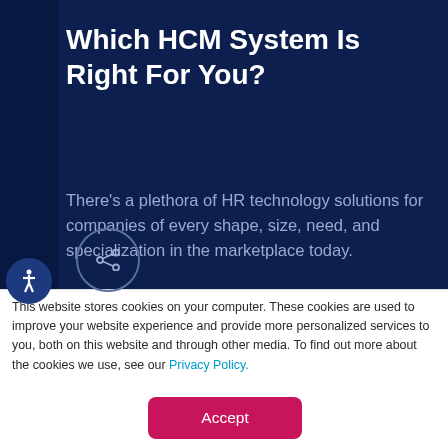Which HCM System Is Right For You?
There’s a plethora of HR technology solutions for companies of every shape, size, need, and specialization in the marketplace today.
This website stores cookies on your computer. These cookies are used to improve your website experience and provide more personalized services to you, both on this website and through other media. To find out more about the cookies we use, see our Privacy Policy.
Accept